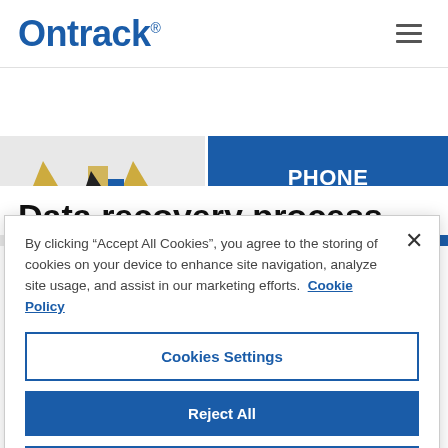Ontrack
[Figure (screenshot): Phone consultation banner with golden icon area on left and blue PHONE CONSULTATION button on right]
Data recovery process
By clicking "Accept All Cookies", you agree to the storing of cookies on your device to enhance site navigation, analyze site usage, and assist in our marketing efforts.  Cookie Policy
Cookies Settings
Reject All
Accept All Cookies